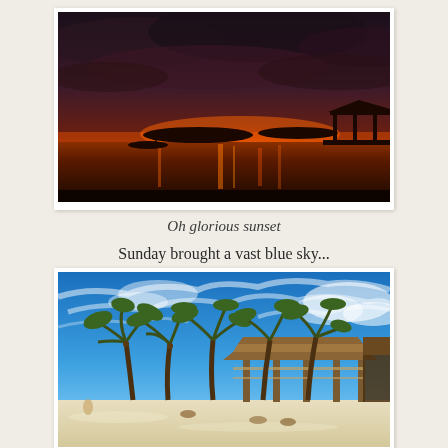[Figure (photo): Dramatic sunset over water with deep orange and red sky, dark storm clouds above, silhouette of a gazebo/pier on the right, small boat on water, reflections of orange light on calm water.]
Oh glorious sunset
Sunday brought a vast blue sky...
[Figure (photo): Tropical beach scene with wide blue sky, palm trees, white sand beach, and a resort/bar structure with thatched roof and open-air columns.]